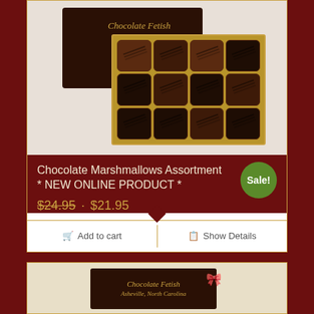[Figure (photo): Box of Chocolate Fetish chocolate marshmallow assortments in a gold tray with 12 pieces arranged in a 4x3 grid, dark brown chocolate box visible behind]
Chocolate Marshmallows Assortment * NEW ONLINE PRODUCT *
$24.95 · $21.95
Add to cart | Show Details
[Figure (photo): Partial view of a Chocolate Fetish branded dark chocolate gift box with gold ribbon and gold text logo]